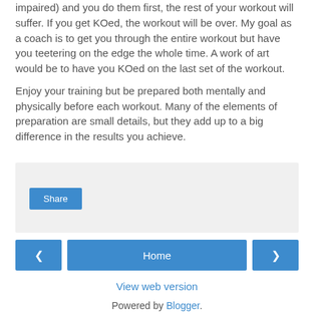impaired) and you do them first, the rest of your workout will suffer. If you get KOed, the workout will be over. My goal as a coach is to get you through the entire workout but have you teetering on the edge the whole time. A work of art would be to have you KOed on the last set of the workout.
Enjoy your training but be prepared both mentally and physically before each workout. Many of the elements of preparation are small details, but they add up to a big difference in the results you achieve.
[Figure (screenshot): Share button widget area with light gray background]
[Figure (screenshot): Navigation row with left arrow, Home button, and right arrow buttons in blue]
View web version
Powered by Blogger.